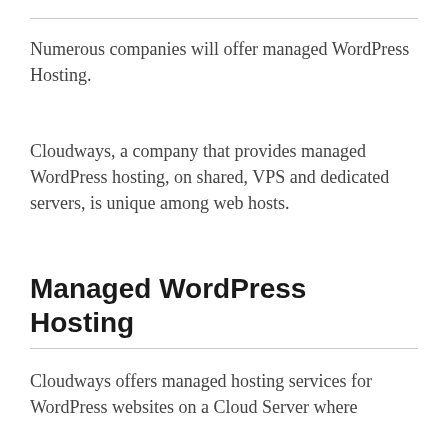Numerous companies will offer managed WordPress Hosting.
Cloudways, a company that provides managed WordPress hosting, on shared, VPS and dedicated servers, is unique among web hosts.
Managed WordPress Hosting
Cloudways offers managed hosting services for WordPress websites on a Cloud Server where